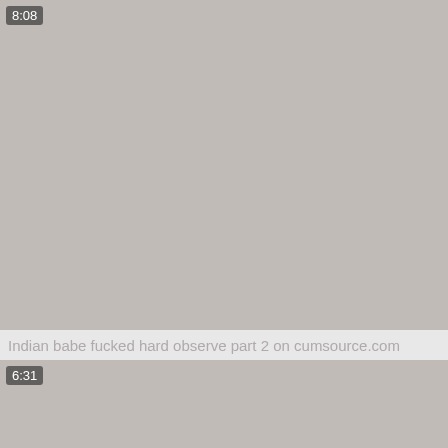[Figure (screenshot): Video thumbnail placeholder (grey rectangle) with duration badge '8:08' in top-left corner]
Indian babe fucked hard observe part 2 on cumsource.com
[Figure (screenshot): Video thumbnail placeholder (grey rectangle) with duration badge '6:31' in top-left corner]